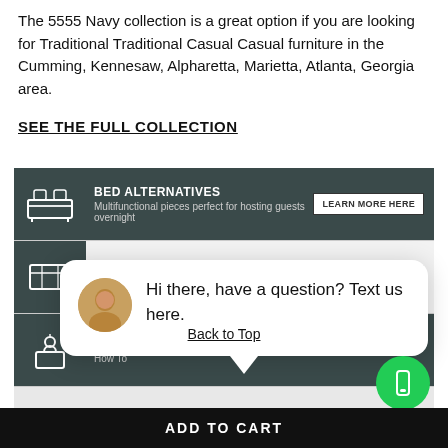The 5555 Navy collection is a great option if you are looking for Traditional Traditional Casual Casual furniture in the Cumming, Kennesaw, Alpharetta, Marietta, Atlanta, Georgia area.
SEE THE FULL COLLECTION
[Figure (screenshot): Website UI banner with three rows: BED ALTERNATIVES (Multifunctional pieces perfect for hosting guests overnight) with LEARN MORE HERE button; SMALL SPACES (Tips for Transforming Your Small Space) with close button; ALLE... (How To...) partially visible. Dark teal icons on left, light grey background.]
[Figure (screenshot): Chat popup overlay: avatar photo of a woman, text 'Hi there, have a question? Text us here.' on white rounded card with shadow.]
Back to Top
ADD TO CART